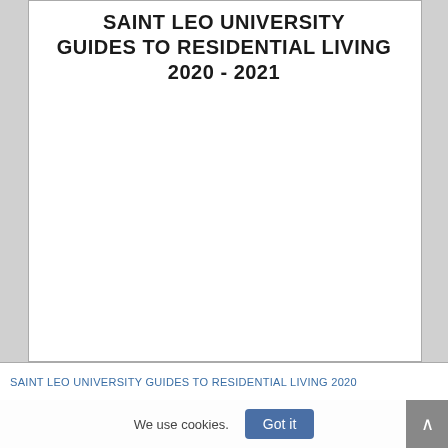SAINT LEO UNIVERSITY GUIDES TO RESIDENTIAL LIVING 2020 - 2021
SAINT LEO UNIVERSITY GUIDES TO RESIDENTIAL LIVING 2020